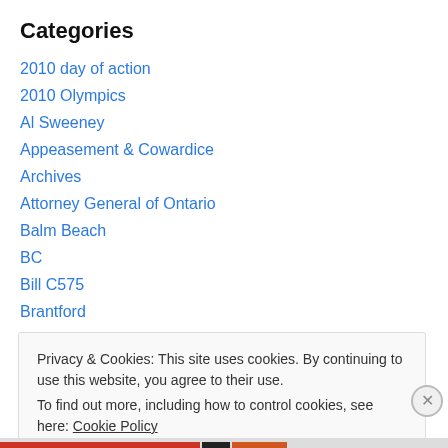Categories
2010 day of action
2010 Olympics
Al Sweeney
Appeasement & Cowardice
Archives
Attorney General of Ontario
Balm Beach
BC
Bill C575
Brantford
Buck Sloat
Privacy & Cookies: This site uses cookies. By continuing to use this website, you agree to their use.
To find out more, including how to control cookies, see here: Cookie Policy
Close and accept